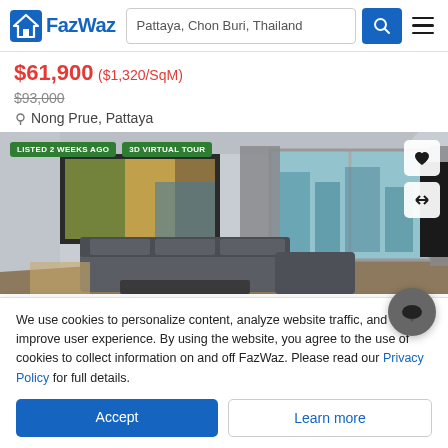FazWaz — Pattaya, Chon Buri, Thailand
$61,900 ($1,320/SqM)
$93,000 (strikethrough)
Nong Prue, Pattaya
[Figure (photo): Interior photo of a modern apartment living room with gray leather sofa, large abstract painting on wall, floor-to-ceiling sliding glass doors showing city view, gray curtains. Overlaid badges: LISTED 2 WEEKS AGO, 3D VIRTUAL TOUR. Action buttons: heart and swap icons.]
We use cookies to personalize content, analyze website traffic, and to improve user experience. By using the website, you agree to the use of cookies to collect information on and off FazWaz. Please read our Privacy Policy for full details.
Accept
Learn more